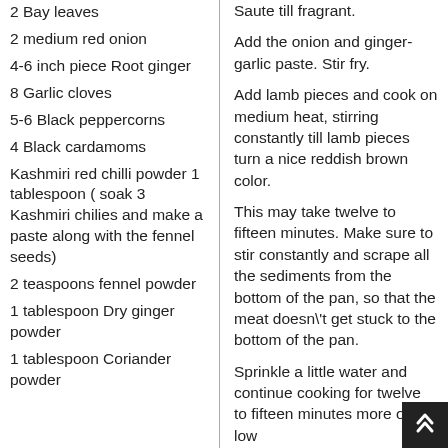2 Bay leaves
2 medium red onion
4-6 inch piece Root ginger
8 Garlic cloves
5-6 Black peppercorns
4 Black cardamoms
Kashmiri red chilli powder 1 tablespoon ( soak 3 Kashmiri chilies and make a paste along with the fennel seeds)
2 teaspoons fennel powder
1 tablespoon Dry ginger powder
1 tablespoon Coriander powder
Saute till fragrant.
Add the onion and ginger-garlic paste. Stir fry.
Add lamb pieces and cook on medium heat, stirring constantly till lamb pieces turn a nice reddish brown color.
This may take twelve to fifteen minutes. Make sure to stir constantly and scrape all the sediments from the bottom of the pan, so that the meat doesn't get stuck to the bottom of the pan.
Sprinkle a little water and continue cooking for twelve to fifteen minutes more on low